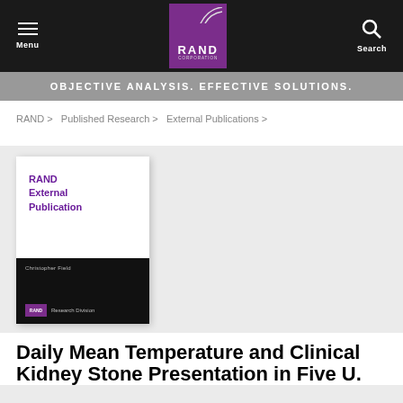Menu | RAND Corporation | Search
OBJECTIVE ANALYSIS. EFFECTIVE SOLUTIONS.
RAND > Published Research > External Publications >
[Figure (illustration): RAND External Publication book cover, with white top section showing 'RAND External Publication' in purple text, and black bottom section showing author name and RAND Research Division logo]
Daily Mean Temperature and Clinical Kidney Stone Presentation in Five U.